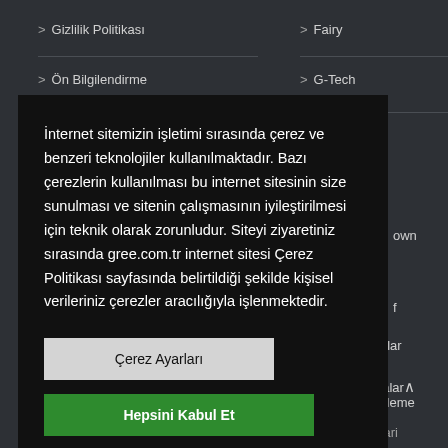> Gizlilik Politikası
> Ön Bilgilendirme
> Fairy
> G-Tech
İnternet sitemizin işletimi sırasında çerez ve benzeri teknolojiler kullanılmaktadır. Bazı çerezlerin kullanılması bu internet sitesinin size sunulması ve sitenin çalışmasının iyileştirilmesi için teknik olarak zorunludur. Siteyi ziyaretiniz sırasında gree.com.tr internet sitesi Çerez Politikası sayfasında belirtildiği şekilde kişisel verileriniz çerezler aracılığıyla işlenmektedir.
Çerez Ayarları
Hepsini Kabul Et
> Sıkça Sorulan Sorular
> Salon Tipi Ticari